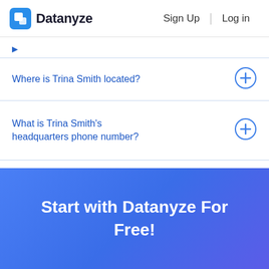Datanyze  Sign Up  Log in
Where is Trina Smith located?
What is Trina Smith's headquarters phone number?
Start with Datanyze For Free!